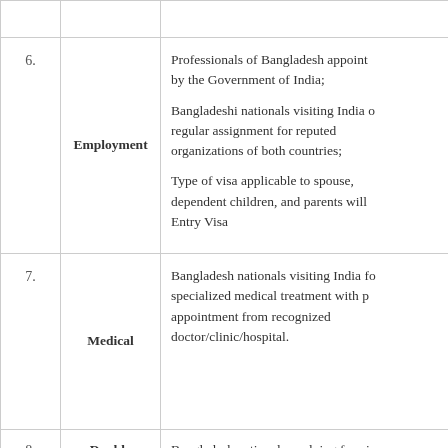| No. | Type | Description |
| --- | --- | --- |
| 6. | Employment | Professionals of Bangladesh appointed by the Government of India;
Bangladeshi nationals visiting India on regular assignment for reputed organizations of both countries;
Type of visa applicable to spouse, dependent children, and parents will be Entry Visa |
| 7. | Medical | Bangladesh nationals visiting India for specialized medical treatment with prior appointment from recognized doctor/clinic/hospital. |
| 8. | Double | Bangladesh nationals applying for vi... |